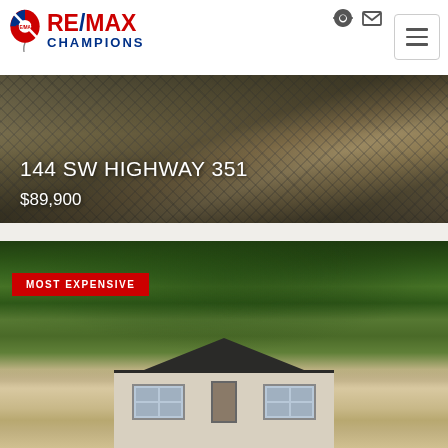[Figure (logo): RE/MAX Champions logo with red and blue balloon icon]
[Figure (photo): Chain-link fence property photo for 144 SW Highway 351 listing]
144 SW HIGHWAY 351
$89,900
[Figure (photo): House with large oak trees draped in Spanish moss, white single-story home]
MOST EXPENSIVE